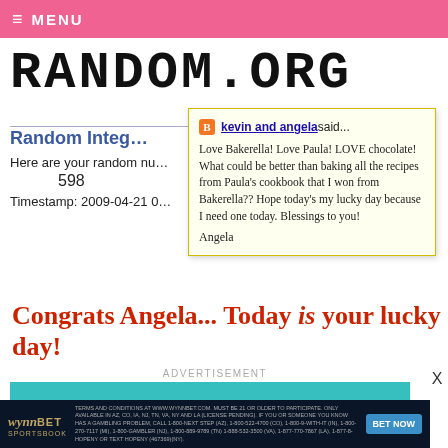≡ MENU
RANDOM.ORG
Random Integ...
Here are your random nu...
598
Timestamp: 2009-04-21 0...
kevin and angela said...
Love Bakerella! Love Paula! LOVE chocolate! What could be better than baking all the recipes from Paula's cookbook that I won from Bakerella?? Hope today's my lucky day because I need one today. Blessings to you!

Angela
Congrats Angela... Today is your lucky day!
ADVERTISEMENT
[Figure (screenshot): WynnBet Sportsbook advertisement banner with BET NOW button and fine print]